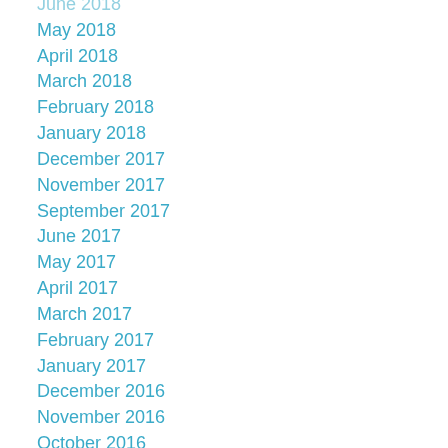June 2018
May 2018
April 2018
March 2018
February 2018
January 2018
December 2017
November 2017
September 2017
June 2017
May 2017
April 2017
March 2017
February 2017
January 2017
December 2016
November 2016
October 2016
September 2016
August 2016
July 2016
June 2016